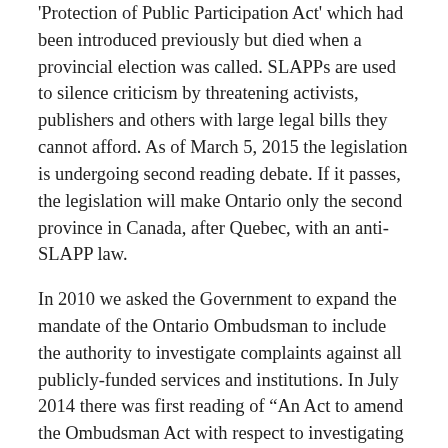'Protection of Public Participation Act' which had been introduced previously but died when a provincial election was called. SLAPPs are used to silence criticism by threatening activists, publishers and others with large legal bills they cannot afford. As of March 5, 2015 the legislation is undergoing second reading debate. If it passes, the legislation will make Ontario only the second province in Canada, after Quebec, with an anti-SLAPP law.
In 2010 we asked the Government to expand the mandate of the Ontario Ombudsman to include the authority to investigate complaints against all publicly-funded services and institutions. In July 2014 there was first reading of "An Act to amend the Ombudsman Act with respect to investigating specific health care services." It proposes that the ombudsman be allowed to investigate long-term care homes, community care access corporations, hospitals, ambulance services, boards of health and retirement homes.